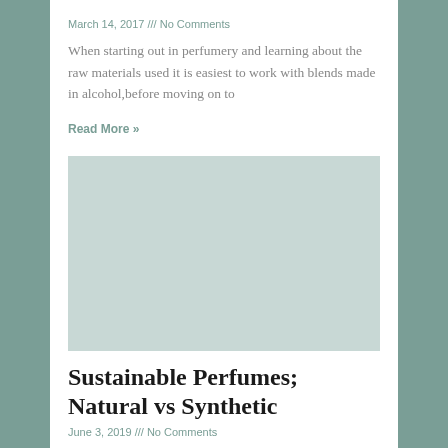March 14, 2017 /// No Comments
When starting out in perfumery and learning about the raw materials used it is easiest to work with blends made in alcohol,before moving on to
Read More »
[Figure (photo): Article image placeholder for perfume-related content]
Sustainable Perfumes; Natural vs Synthetic
June 3, 2019 /// No Comments
What is …